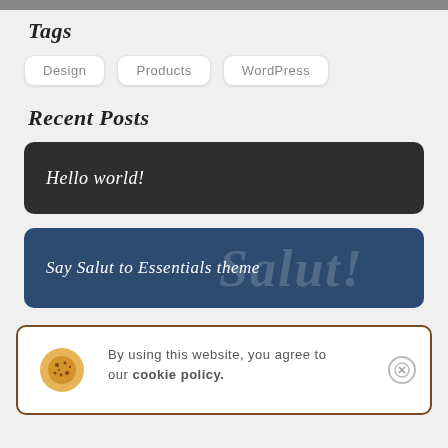[Figure (photo): Partial image strip at top of page]
Tags
Design
Products
WordPress
Recent Posts
Hello world!
Say Salut to Essentials theme
By using this website, you agree to our cookie policy.